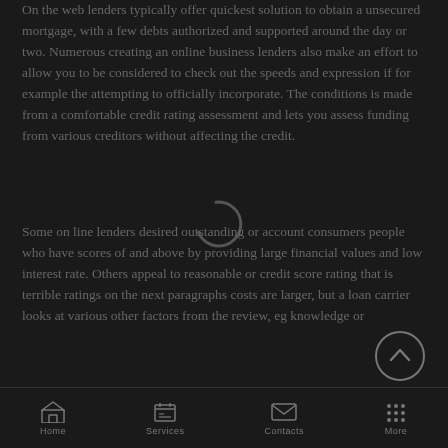On the web lenders typically offer quickest solution to obtain a unsecured mortgage, with a few debts authorized and supported around the day or two. Numerous creating an online business lenders also make an effort to allow you to be considered to check out the speeds and expression if for example the attempting to officially incorporate. The conditions is made from a comfortable credit rating assessment and lets you assess funding from various creditors without affecting the credit.
[Figure (other): Loading spinner circle icon overlaid on text]
Some on line lenders desired outstanding or account consumers people who have scores of and above by providing large financial values and low interest rate. Others appeal to reasonable or credit score rating that is terrible ratings on the next paragraphs costs are larger, but a loan carrier looks at various other factors from the review, eg knowledge or
[Figure (other): Back/up navigation button circle with arrow pointing up]
Home   Services   Contacts   More